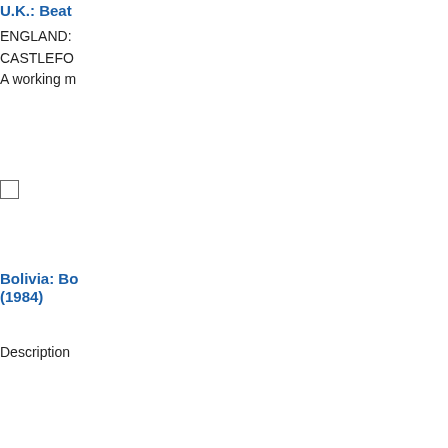U.K.: Beat...
ENGLAND:
CASTLEFO...
A working m...
Bolivia: Bo... (1984)
Description...
A Busman...
Out of work...
their homes...
A Lucky E...
Pit head co...
wagons am...
one is...